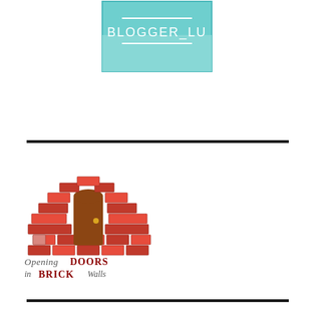[Figure (logo): BLOGGER_LU logo in teal/cyan square box with text BLOGGER_LU]
[Figure (logo): Opening Doors in Brick Walls logo with illustration of red brick arch with brown door and text 'Opening Doors in Brick Walls']